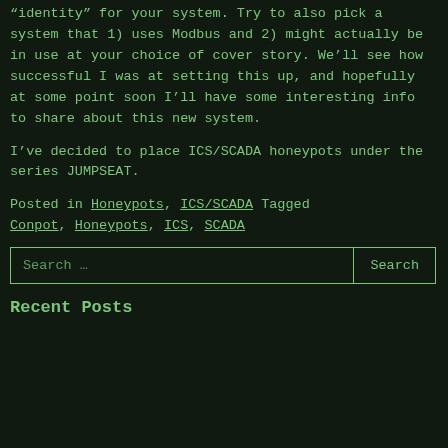“identity” for your system. Try to also pick a system that 1) uses Modbus and 2) might actually be in use at your choice of cover story. We’ll see how successful I was at setting this up, and hopefully at some point soon I’ll have some interesting info to share about this new system.

I’ve decided to place ICS/SCADA honeypots under the series JUMPSEAT.
Posted in Honeypots, ICS/SCADA Tagged Conpot, Honeypots, ICS, SCADA
Search …  [Search button]
Recent Posts